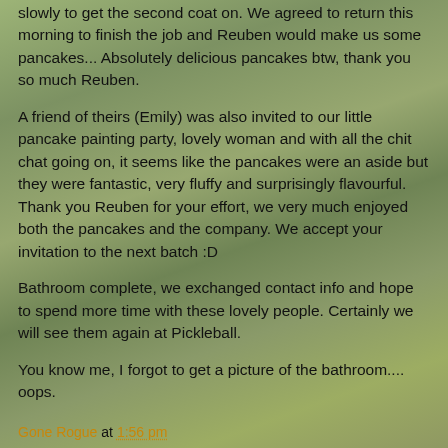slowly to get the second coat on. We agreed to return this morning to finish the job and Reuben would make us some pancakes... Absolutely delicious pancakes btw, thank you so much Reuben.
A friend of theirs (Emily) was also invited to our little pancake painting party, lovely woman and with all the chit chat going on, it seems like the pancakes were an aside but they were fantastic, very fluffy and surprisingly flavourful. Thank you Reuben for your effort, we very much enjoyed both the pancakes and the company. We accept your invitation to the next batch :D
Bathroom complete, we exchanged contact info and hope to spend more time with these lovely people. Certainly we will see them again at Pickleball.
You know me, I forgot to get a picture of the bathroom.... oops.
Gone Rogue at 1:56 pm